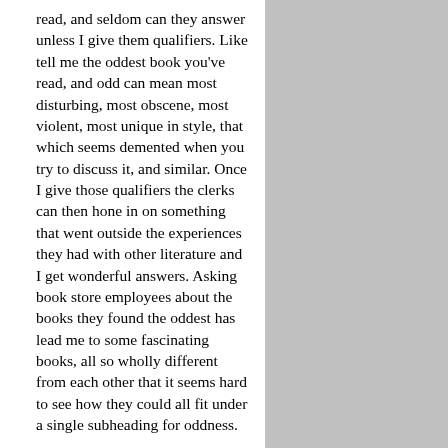read, and seldom can they answer unless I give them qualifiers. Like tell me the oddest book you've read, and odd can mean most disturbing, most obscene, most violent, most unique in style, that which seems demented when you try to discuss it, and similar. Once I give those qualifiers the clerks can then hone in on something that went outside the experiences they had with other literature and I get wonderful answers. Asking book store employees about the books they found the oddest has lead me to some fascinating books, all so wholly different from each other that it seems hard to see how they could all fit under a single subheading for oddness.